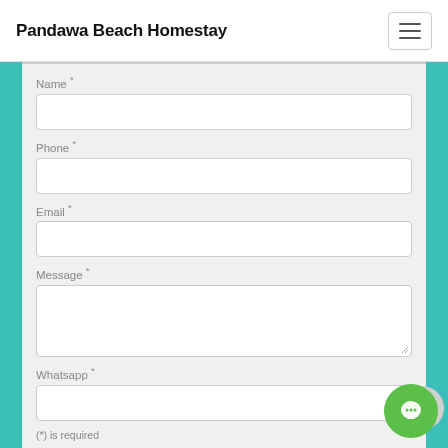Pandawa Beach Homestay
Name *
Phone *
Email *
Message *
Whatsapp *
(*) is required